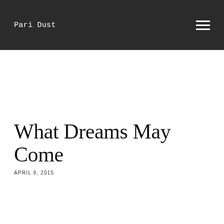Pari Dust
What Dreams May Come
APRIL 9, 2015